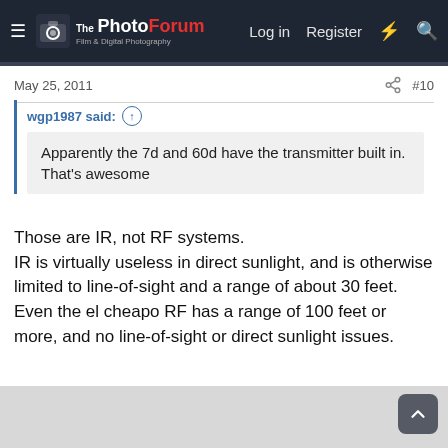ThePhotoForum — Film & Digital Photography | Log in | Register
May 25, 2011  #10
wgp1987 said: Apparently the 7d and 60d have the transmitter built in. That's awesome
Those are IR, not RF systems.
IR is virtually useless in direct sunlight, and is otherwise limited to line-of-sight and a range of about 30 feet.
Even the el cheapo RF has a range of 100 feet or more, and no line-of-sight or direct sunlight issues.